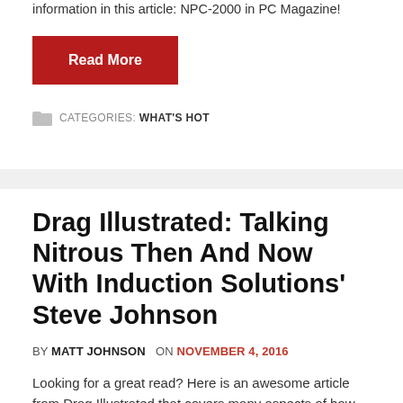information in this article: NPC-2000 in PC Magazine!
Read More
CATEGORIES: WHAT'S HOT
Drag Illustrated: Talking Nitrous Then And Now With Induction Solutions' Steve Johnson
BY MATT JOHNSON  ON NOVEMBER 4, 2016
Looking for a great read? Here is an awesome article from Drag Illustrated that covers many aspects of how nitrous has changed over the years and speaks with Induction Solutions' founder and CEO, Steve Johnson, about his road from the racing side to the business side of the drag racing